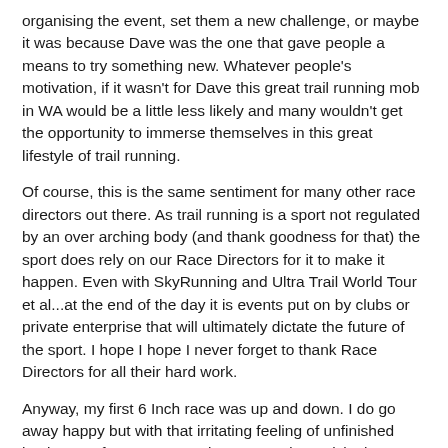organising the event, set them a new challenge, or maybe it was because Dave was the one that gave people a means to try something new. Whatever people's motivation, if it wasn't for Dave this great trail running mob in WA would be a little less likely and many wouldn't get the opportunity to immerse themselves in this great lifestyle of trail running.
Of course, this is the same sentiment for many other race directors out there. As trail running is a sport not regulated by an over arching body (and thank goodness for that) the sport does rely on our Race Directors for it to make it happen. Even with SkyRunning and Ultra Trail World Tour et al...at the end of the day it is events put on by clubs or private enterprise that will ultimately dictate the future of the sport. I hope I hope I never forget to thank Race Directors for all their hard work.
Anyway, my first 6 Inch race was up and down. I do go away happy but with that irritating feeling of unfinished business! After a conservative start and surprisingly winning the first big climb 'King of the Mountain' challenge, I settled into a good pace with another Perth gun Gerry Hill. After about 6km